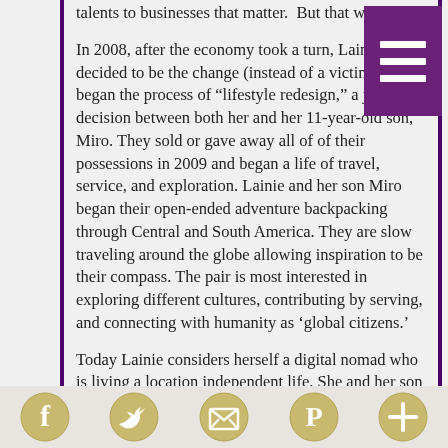talents to businesses that matter.  But that was then.

In 2008, after the economy took a turn, Lainie decided to be the change (instead of a victim) and began the process of “lifestyle redesign,” a joint decision between both her and her 11-year-old son, Miro. They sold or gave away all of of their possessions in 2009 and began a life of travel, service, and exploration. Lainie and her son Miro began their open-ended adventure backpacking through Central and South America. They are slow traveling around the globe allowing inspiration to be their compass. The pair is most interested in exploring different cultures, contributing by serving, and connecting with humanity as ‘global citizens.’

Today Lainie considers herself a digital nomad who is living a location independent life. She and her son write and podcast their experiences from the road at Raising Miro on the Road of Life.
[social icons: Facebook, Twitter, Email/Feed, Pinterest, Add]